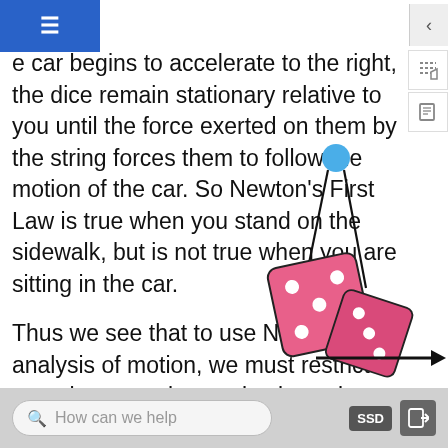e car begins to accelerate to the right, the dice remain stationary relative to you until the force exerted on them by the string forces them to follow the motion of the car. So Newton's First Law is true when you stand on the sidewalk, but is not true when you are sitting in the car.
Thus we see that to use Newton's analysis of motion, we must restrict ourselves to only certain viewpoints, certain frames of reference. Frames of reference where Newton's analysis works are called inertial frames. They are frames where the Principle of Inertia is true.
[Figure (illustration): Illustration of pink dice hanging from a string attached to a blue ball at the top, with a rightward arrow below indicating acceleration direction.]
How can we help    SSD